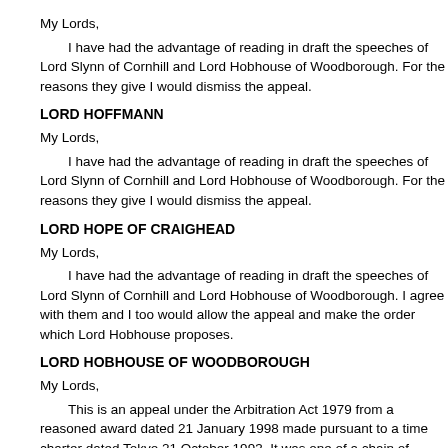My Lords,
I have had the advantage of reading in draft the speeches of Lord Slynn of Cornhill and Lord Hobhouse of Woodborough. For the reasons they give I would dismiss the appeal.
LORD HOFFMANN
My Lords,
I have had the advantage of reading in draft the speeches of Lord Slynn of Cornhill and Lord Hobhouse of Woodborough. For the reasons they give I would dismiss the appeal.
LORD HOPE OF CRAIGHEAD
My Lords,
I have had the advantage of reading in draft the speeches of Lord Slynn of Cornhill and Lord Hobhouse of Woodborough. I agree with them and I too would allow the appeal and make the order which Lord Hobhouse proposes.
LORD HOBHOUSE OF WOODBOROUGH
My Lords,
This is an appeal under the Arbitration Act 1979 from a reasoned award dated 21 January 1998 made pursuant to a time charter dated Tokyo 21 October 1993. It was one of a chain of charters of the vessel Harmony described as being of 15,622 tons gross and 9,017 tons net with a deadweight of 24,683 metric tons and a laden service speed of about 13 knots. She was built in 1985 and was a bulk carrier with 5 holds. The parties to the relevant charter were